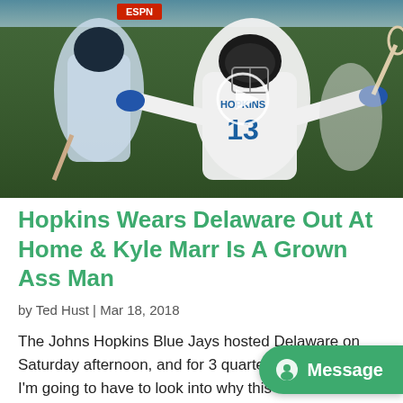[Figure (photo): Lacrosse players on field; a player wearing jersey number 13 (Hopkins/Johns Hopkins) celebrates with arms outstretched holding a lacrosse stick. A play button circle overlay is visible in the center of the image indicating a video. ESPN watermark visible top left.]
Hopkins Wears Delaware Out At Home & Kyle Marr Is A Grown Ass Man
by Ted Hust | Mar 18, 2018
The Johns Hopkins Blue Jays hosted Delaware on Saturday afternoon, and for 3 quarters, the Blue He... I'm going to have to look into why this is